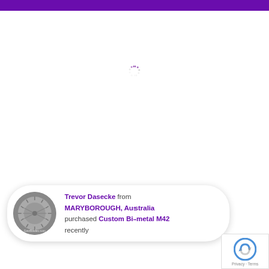[Figure (illustration): Loading spinner — small circle of dots in grey/purple centered on the page]
Trevor Dasecke from MARYBOROUGH, Australia purchased Custom Bi-metal M42 recently
[Figure (logo): reCAPTCHA logo with Privacy and Terms links]